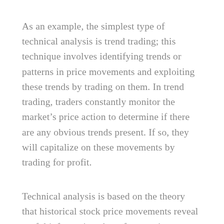As an example, the simplest type of technical analysis is trend trading; this technique involves identifying trends or patterns in price movements and exploiting these trends by trading on them. In trend trading, traders constantly monitor the market's price action to determine if there are any obvious trends present. If so, they will capitalize on these movements by trading for profit.
Technical analysis is based on the theory that historical stock price movements reveal useful information about future price behavior. This point of view relies heavily on the capital asset pricing model (CAPM), which is a formula that was developed by Sharpe in 1964 to compare trading results with market expectations. It calculates the amount of excess return for an investment relative to the amount of risk taken